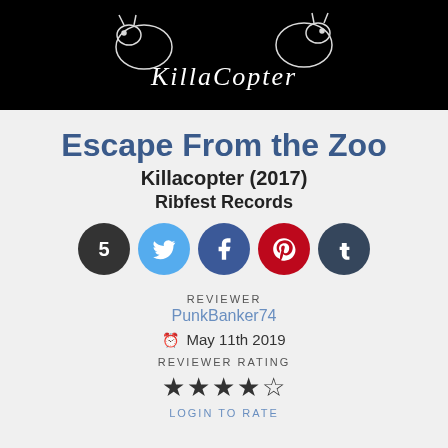[Figure (logo): KillaCopter logo on black background — sketchy animal/bird illustration with 'KillaCopter' text in distressed white handwritten font]
Escape From the Zoo
Killacopter (2017)
Ribfest Records
[Figure (infographic): Row of 5 social sharing icons: dark circle with '5', Twitter bird (light blue), Facebook f (dark blue), Pinterest P (red), Tumblr t (dark grey)]
REVIEWER
PunkBanker74
⊙ May 11th 2019
REVIEWER RATING
[Figure (infographic): 4.5 star rating shown as filled and half-filled star icons]
LOGIN TO RATE